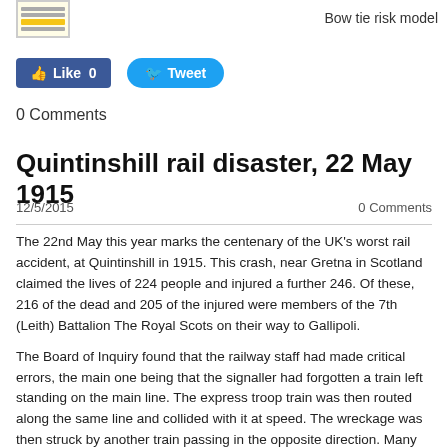[Figure (logo): Small logo image with horizontal lines on yellow background]
Bow tie risk model
[Figure (other): Facebook Like button with count 0 and Twitter Tweet button]
0 Comments
Quintinshill rail disaster, 22 May 1915
12/5/2015   0 Comments
The 22nd May this year marks the centenary of the UK's worst rail accident, at Quintinshill in 1915. This crash, near Gretna in Scotland claimed the lives of 224 people and injured a further 246. Of these, 216 of the dead and 205 of the injured were members of the 7th (Leith) Battalion The Royal Scots on their way to Gallipoli.
The Board of Inquiry found that the railway staff had made critical errors, the main one being that the signaller had forgotten a train left standing on the main line. The express troop train was then routed along the same line and collided with it at speed. The wreckage was then struck by another train passing in the opposite direction. Many